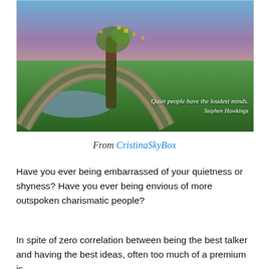[Figure (illustration): Scenic landscape with an arched stone bridge covered in ivy, a gnarled tree with yellow leaves at the top, rolling green hills, a small pond, and a dramatic sky. Overlaid text reads: 'Quiet people have the loudest minds. Stephen Hawkings']
From CristinaSkyBox
Have you ever being embarrassed of your quietness or shyness? Have you ever being envious of more outspoken charismatic people?
In spite of zero correlation between being the best talker and having the best ideas, often too much of a premium is